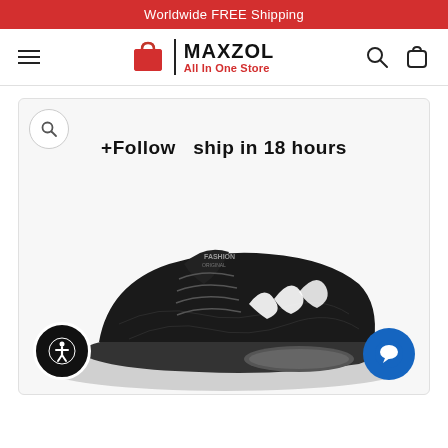Worldwide FREE Shipping
[Figure (logo): MAXZOL All In One Store logo with red shopping bag icon]
[Figure (photo): Black athletic sneaker/running shoe with white flame-like stripes on side and air cushion sole, text '+Follow  ship in 18 hours' at top of image]